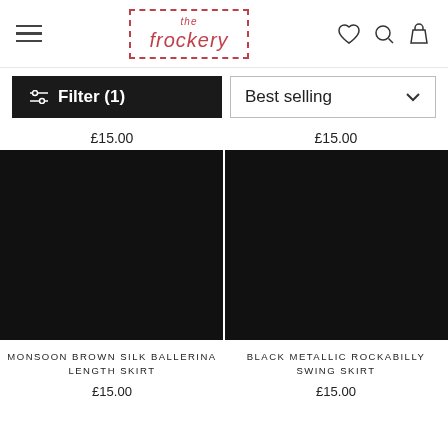the frockery
Filter (1)
Best selling
£15.00
£15.00
[Figure (photo): Dark/black product photo of Monsoon Brown Silk Ballerina Length Skirt]
[Figure (photo): Dark/black product photo of Black Metallic Rockabilly Swing Skirt]
MONSOON BROWN SILK BALLERINA LENGTH SKIRT
BLACK METALLIC ROCKABILLY SWING SKIRT
£15.00
£15.00